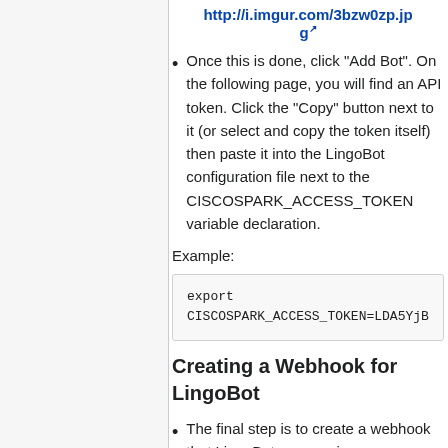http://i.imgur.com/3bzw0zp.jpg
Once this is done, click "Add Bot". On the following page, you will find an API token. Click the "Copy" button next to it (or select and copy the token itself) then paste it into the LingoBot configuration file next to the CISCOSPARK_ACCESS_TOKEN variable declaration.
Example:
export CISCOSPARK_ACCESS_TOKEN=LDA5YjB...
Creating a Webhook for LingoBot
The final step is to create a webhook that LingoBot can receive...